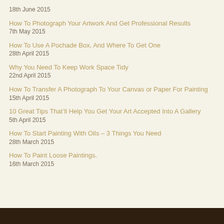18th June 2015
How To Photograph Your Artwork And Get Professional Results
7th May 2015
How To Use A Pochade Box, And Where To Get One
28th April 2015
Why You Need To Keep Work Space Tidy
22nd April 2015
How To Transfer A Photograph To Your Canvas or Paper For Painting
15th April 2015
10 Great Tips That’ll Help You Get Your Art Accepted Into A Gallery
5th April 2015
How To Start Painting With Oils – 3 Things You Need
28th March 2015
How To Paint Loose Paintings.
16th March 2015